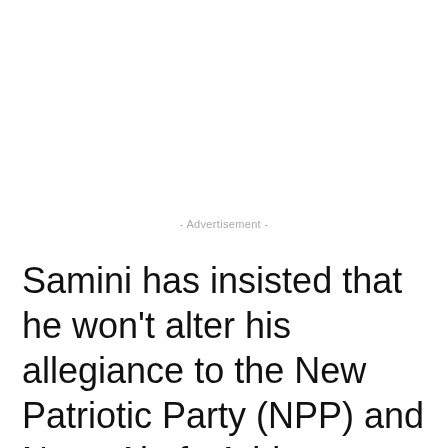- Advertisement -
Samini has insisted that he won't alter his allegiance to the New Patriotic Party (NPP) and Nana Akufo Addo despite his incompetence.